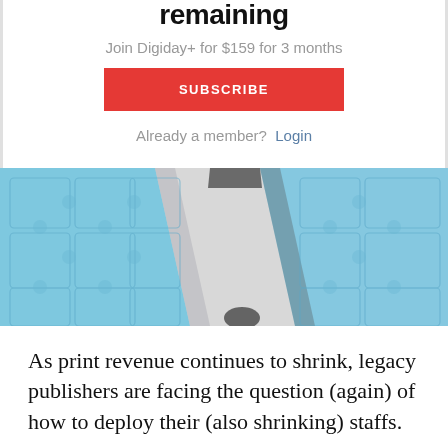remaining
Join Digiday+ for $159 for 3 months
SUBSCRIBE
Already a member?  Login
[Figure (photo): Blue puzzle pieces with a gap/missing section running diagonally, photographed from above on a light background.]
As print revenue continues to shrink, legacy publishers are facing the question (again) of how to deploy their (also shrinking) staffs.